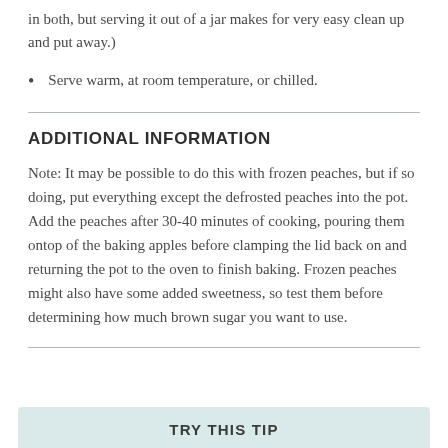in both, but serving it out of a jar makes for very easy clean up and put away.)
Serve warm, at room temperature, or chilled.
ADDITIONAL INFORMATION
Note: It may be possible to do this with frozen peaches, but if so doing, put everything except the defrosted peaches into the pot. Add the peaches after 30-40 minutes of cooking, pouring them ontop of the baking apples before clamping the lid back on and returning the pot to the oven to finish baking. Frozen peaches might also have some added sweetness, so test them before determining how much brown sugar you want to use.
TRY THIS TIP